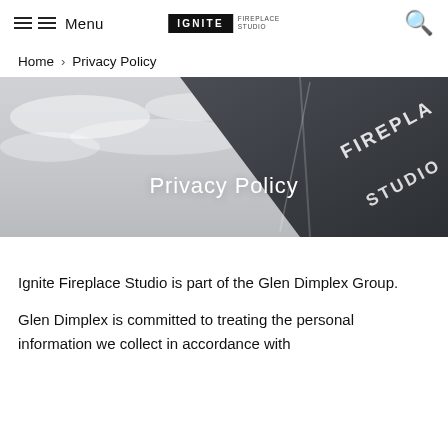Menu | IGNITE FIREPLACE STUDIO | [search]
Home > Privacy Policy
[Figure (photo): Dark angled signage panel with raised letters reading FIREPLACE STUDIO against a grey cloudy sky background, with 'Privacy Policy' text overlaid in white.]
Ignite Fireplace Studio is part of the Glen Dimplex Group.
Glen Dimplex is committed to treating the personal information we collect in accordance with the...